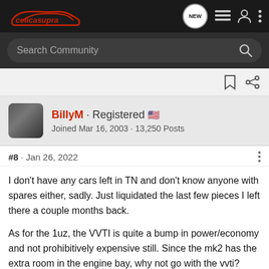celicasupra — navigation bar with logo and icons
Search Community
[Figure (screenshot): Toolbar strip with bookmark and share icons]
BillyM · Registered 🇺🇸
Joined Mar 16, 2003 · 13,250 Posts
#8 · Jan 26, 2022
I don't have any cars left in TN and don't know anyone with spares either, sadly. Just liquidated the last few pieces I left there a couple months back.
As for the 1uz, the VVTI is quite a bump in power/economy and not prohibitively expensive still. Since the mk2 has the extra room in the engine bay, why not go with the vvti?